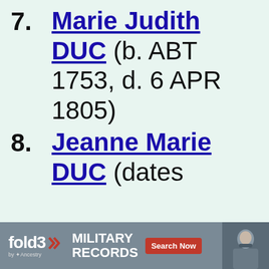7. Marie Judith DUC (b. ABT 1753, d. 6 APR 1805)
8. Jeanne Marie DUC (dates
[Figure (screenshot): Advertisement banner for fold3 by Ancestry — Military Records, Search Now button, photo of soldier]